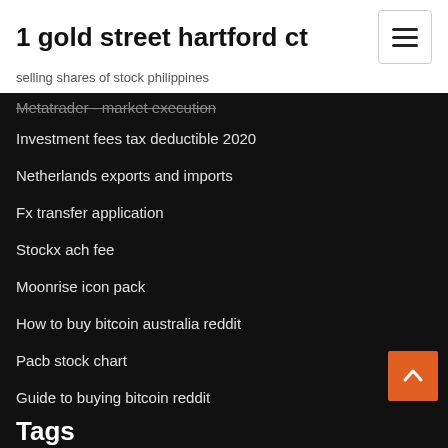1 gold street hartford ct
selling shares of stock philippines
Metatrader - market execution
Investment fees tax deductible 2020
Netherlands exports and imports
Fx transfer application
Stockx ach fee
Moonrise icon pack
How to buy bitcoin australia reddit
Pacb stock chart
Guide to buying bitcoin reddit
Tags